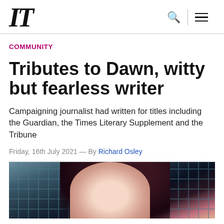IT
COMMUNITY
Tributes to Dawn, witty but fearless writer
Campaigning journalist had written for titles including the Guardian, the Times Literary Supplement and the Tribune
Friday, 16th July 2021 — By Richard Osley
[Figure (photo): Photograph of Dawn, a woman with dark hair against a brick wall background]